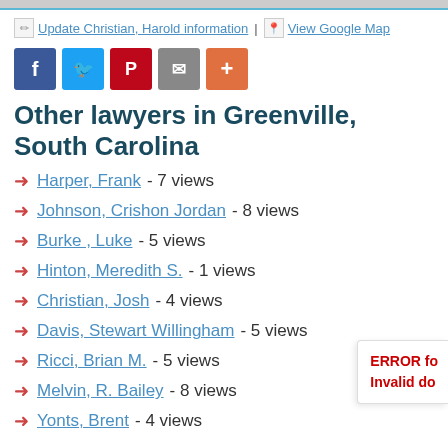Update Christian, Harold information | View Google Map
Other lawyers in Greenville, South Carolina
Harper, Frank - 7 views
Johnson, Crishon Jordan - 8 views
Burke , Luke - 5 views
Hinton, Meredith S. - 1 views
Christian, Josh - 4 views
Davis, Stewart Willingham - 5 views
Ricci, Brian M. - 5 views
Melvin, R. Bailey - 8 views
Yonts, Brent - 4 views